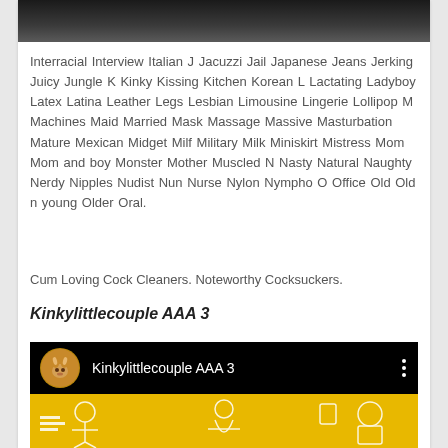[Figure (photo): Dark/black image at top of card, appears to be a cropped photo with dark tones]
Interracial Interview Italian J Jacuzzi Jail Japanese Jeans Jerking Juicy Jungle K Kinky Kissing Kitchen Korean L Lactating Ladyboy Latex Latina Leather Legs Lesbian Limousine Lingerie Lollipop M Machines Maid Married Mask Massage Massive Masturbation Mature Mexican Midget Milf Military Milk Miniskirt Mistress Mom Mom and boy Monster Mother Muscled N Nasty Natural Naughty Nerdy Nipples Nudist Nun Nurse Nylon Nympho O Office Old Old n young Older Oral.
Cum Loving Cock Cleaners. Noteworthy Cocksuckers.
Kinkylittlecouple AAA 3
[Figure (screenshot): Video platform channel card showing avatar (rabbit image), channel name 'Kinkylittlecouple AAA 3', three-dot menu icon, and yellow/gold decorative banner below]